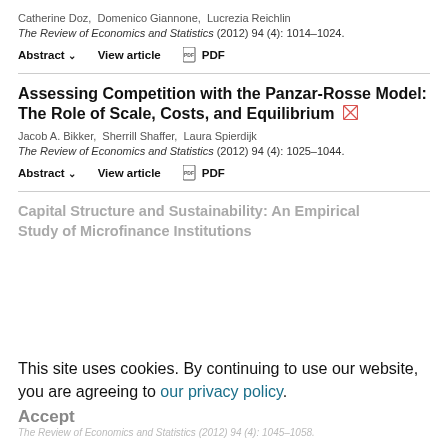Catherine Doz,  Domenico Giannone,  Lucrezia Reichlin
The Review of Economics and Statistics (2012) 94 (4): 1014–1024.
Abstract ∨   View article   PDF
Assessing Competition with the Panzar-Rosse Model: The Role of Scale, Costs, and Equilibrium
Jacob A. Bikker,  Sherrill Shaffer,  Laura Spierdijk
The Review of Economics and Statistics (2012) 94 (4): 1025–1044.
Abstract ∨   View article   PDF
Capital Structure and Sustainability: An Empirical Study of Microfinance Institutions
This site uses cookies. By continuing to use our website, you are agreeing to our privacy policy.
Accept
The Review of Economics and Statistics (2012) 94 (4): 1045–1058.